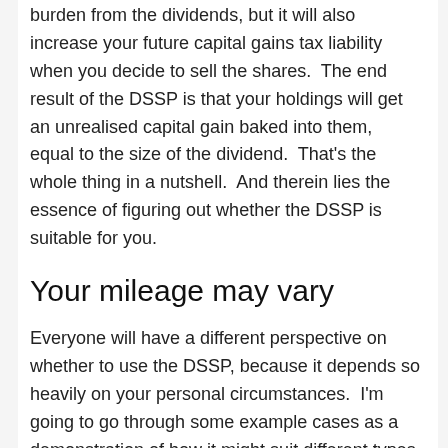burden from the dividends, but it will also increase your future capital gains tax liability when you decide to sell the shares.  The end result of the DSSP is that your holdings will get an unrealised capital gain baked into them, equal to the size of the dividend.  That's the whole thing in a nutshell.  And therein lies the essence of figuring out whether the DSSP is suitable for you.
Your mileage may vary
Everyone will have a different perspective on whether to use the DSSP, because it depends so heavily on your personal circumstances.  I'm going to go through some example cases as a demonstration of how it might suit different types of investors, but you'll need to figure out